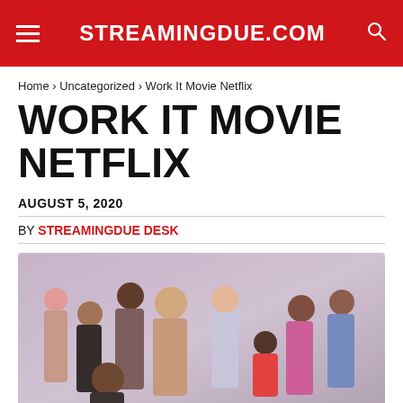STREAMINGDUE.COM
Home › Uncategorized › Work It Movie Netflix
WORK IT MOVIE NETFLIX
AUGUST 5, 2020
BY STREAMINGDUE DESK
[Figure (photo): Group cast photo of the Work It Netflix movie, showing approximately 9 young actors/cast members posing together against a light background]